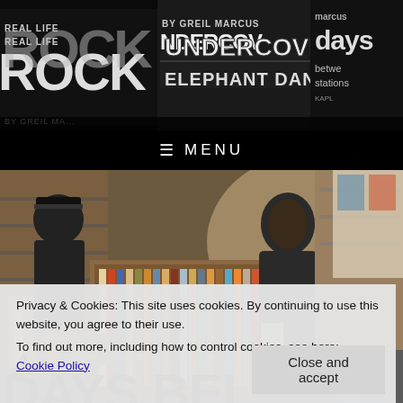[Figure (illustration): Black and white collage header banner with text fragments: 'REAL LIFE', 'ROCK', 'BY GREIL MARCUS', 'UNDERCOVER', 'ELEPHANT DANCING', 'days between stations', arranged in a typographic collage on black background]
MENU
[Figure (photo): Photo of a record store interior with rows of vinyl records in bins. Multiple people are browsing. One person in a dark hoodie is visible in the center, another person in a light gray hoodie is on the right, and a person in dark clothing is on the left near the wall. The store has shelves and bins packed with records.]
Privacy & Cookies: This site uses cookies. By continuing to use this website, you agree to their use.
To find out more, including how to control cookies, see here: Cookie Policy
Close and accept
A
DAYS BETWEEN